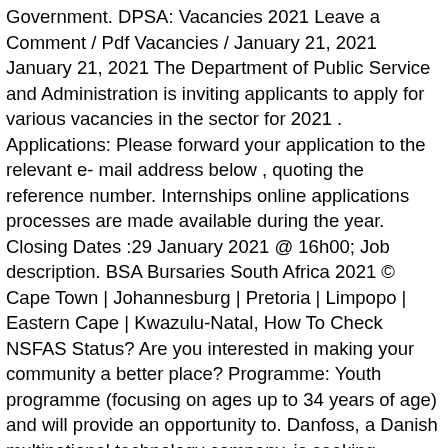Government. DPSA: Vacancies 2021 Leave a Comment / Pdf Vacancies / January 21, 2021 January 21, 2021 The Department of Public Service and Administration is inviting applicants to apply for various vacancies in the sector for 2021 . Applications: Please forward your application to the relevant e- mail address below , quoting the reference number. Internships online applications processes are made available during the year. Closing Dates :29 January 2021 @ 16h00; Job description. BSA Bursaries South Africa 2021 © Cape Town | Johannesburg | Pretoria | Limpopo | Eastern Cape | Kwazulu-Natal, How To Check NSFAS Status? Are you interested in making your community a better place? Programme: Youth programme (focusing on ages up to 34 years of age) and will provide an opportunity to. Danfoss, a Danish multinational technology company, is seeking suitable accounting graduates interested in joining its Accounting Internship for 2021. Eligibility criteria for DPSA Internships for South Africans 2021. Such as: North West The public service programs offered by Government has many great career paths. Please note that incomplete applications will